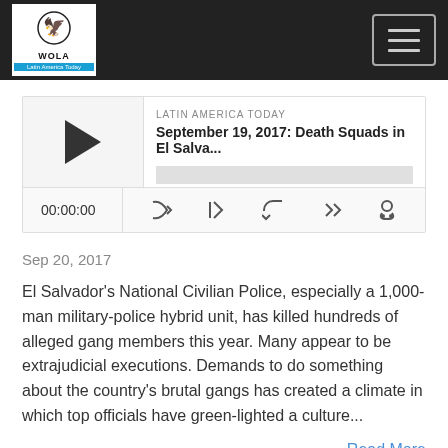WOLA Latin America Today
[Figure (other): Podcast audio player showing episode: September 19, 2017: Death Squads in El Salva... with play button, progress bar, time display 00:00:00 and controls]
Sep 20, 2017
El Salvador's National Civilian Police, especially a 1,000-man military-police hybrid unit, has killed hundreds of alleged gang members this year. Many appear to be extrajudicial executions. Demands to do something about the country's brutal gangs has created a climate in which top officials have green-lighted a culture...
Read More
August 4, 2017: How to Work With